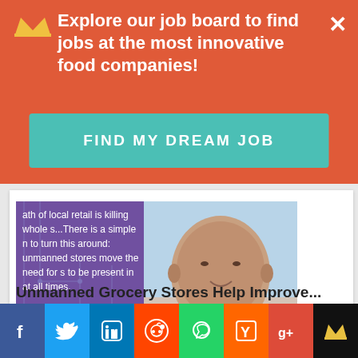Explore our job board to find jobs at the most innovative food companies!
FIND MY DREAM JOB
[Figure (photo): Quote overlay with purple background showing partial text about unmanned stores and local retail, beside a close-up photo of a bald man smiling]
Unmanned Grocery Stores Help Improve...
[Figure (infographic): Social sharing bar with icons for Facebook, Twitter, LinkedIn, Reddit, WhatsApp, Hacker News (Y), Google+, and a crown icon]